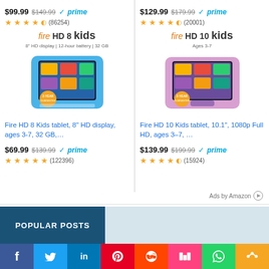$99.99 $149.99 prime
★★★★½ (86254)
[Figure (photo): Fire HD 8 Kids tablet product image with blue kid-proof case]
Fire HD 8 Kids tablet, 8" HD display, ages 3-7, 32 GB,...
$69.99 $139.99 prime
★★★★★ (122396)
$129.99 $179.99 prime
★★★★½ (20001)
[Figure (photo): Fire HD 10 Kids tablet product image with pink kid-proof case]
Fire HD 10 Kids tablet, 10.1", 1080p Full HD, ages 3–7, ...
$139.99 $199.99 prime
★★★★½ (15924)
Ads by Amazon
POPULAR POSTS